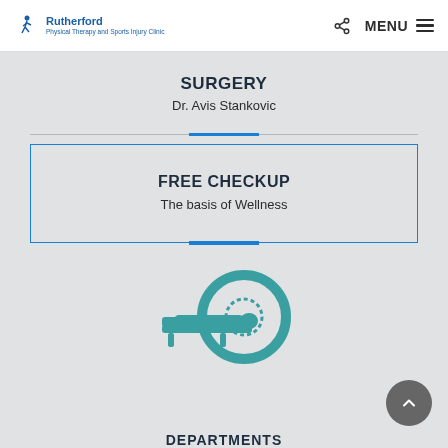Rutherford Physical Therapy and Sports Injury Clinic | MENU
SURGERY
Dr. Avis Stankovic
FREE CHECKUP
The basis of Wellness
[Figure (illustration): MRI or CT scan machine icon in teal color, showing a patient on a scanning bed being loaded into a circular scanner]
DEPARTMENTS